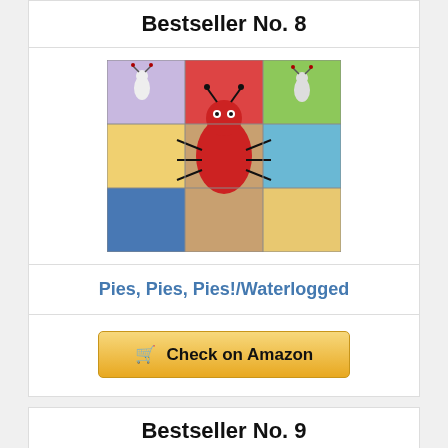Bestseller No. 8
[Figure (photo): Collage of animated ant characters in colorful grid panels]
Pies, Pies, Pies!/Waterlogged
Check on Amazon
Bestseller No. 9
[Figure (screenshot): App icon with green background and yellow letter A shape]